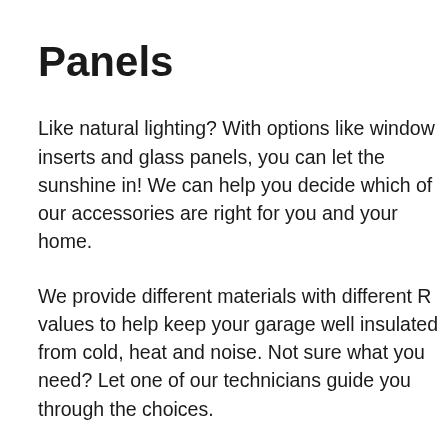Panels
Like natural lighting? With options like window inserts and glass panels, you can let the sunshine in! We can help you decide which of our accessories are right for you and your home.
We provide different materials with different R values to help keep your garage well insulated from cold, heat and noise. Not sure what you need? Let one of our technicians guide you through the choices.
While we’re always happy to help you choose, the decision is always yours. We can